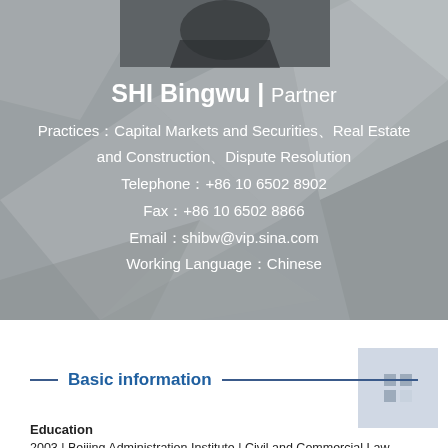[Figure (photo): Profile photo of SHI Bingwu, partner, top portion visible against gray geometric background]
SHI Bingwu | Partner
Practices：Capital Markets and Securities、Real Estate and Construction、Dispute Resolution
Telephone：+86 10 6502 8902
Fax：+86 10 6502 8866
Email：shibw@vip.sina.com
Working Language：Chinese
Basic information
Education
2003 | Beijing Administration Institute | Civil and Commercial Law